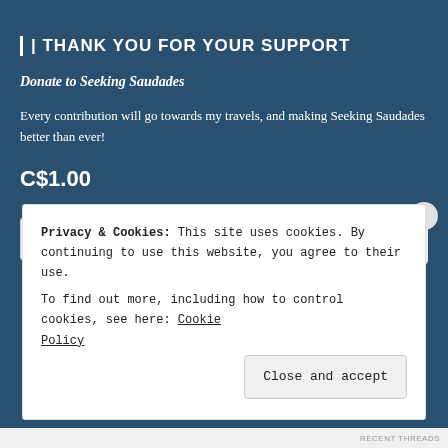| THANK YOU FOR YOUR SUPPORT
Donate to Seeking Saudades
Every contribution will go towards my travels, and making Seeking Saudades better than ever!
C$1.00
[Figure (screenshot): Payment widget with quantity selector showing '1' and a 'Pay with PayPal' button, followed by credit card icons (Visa, Mastercard, Amex, and another card)]
Privacy & Cookies: This site uses cookies. By continuing to use this website, you agree to their use.
To find out more, including how to control cookies, see here: Cookie Policy
Close and accept